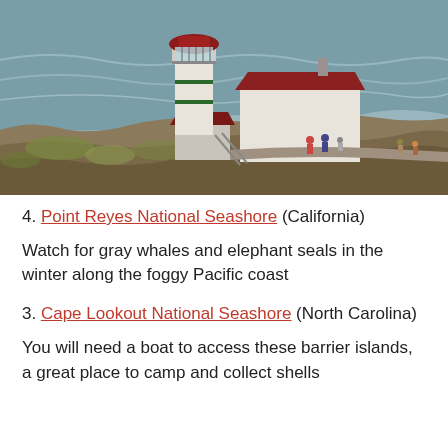[Figure (photo): Aerial photograph of a lighthouse with a red-capped tower and adjacent white buildings with red roofs, situated on rocky coastal cliffs above the Pacific Ocean. A wooden walkway/ramp connects the structures, and several visitors are visible on the platform.]
4. Point Reyes National Seashore (California)
Watch for gray whales and elephant seals in the winter along the foggy Pacific coast
3. Cape Lookout National Seashore (North Carolina)
You will need a boat to access these barrier islands, a great place to camp and collect shells